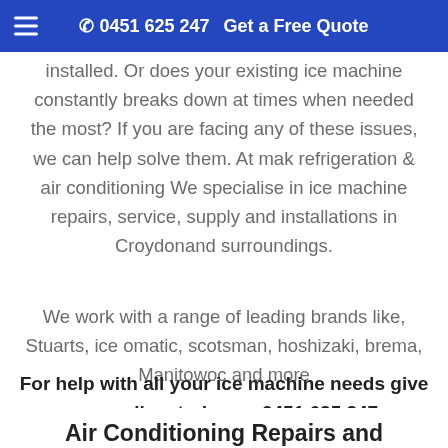☰  📞 0451 625 247   Get a Free Quote
installed. Or does your existing ice machine constantly breaks down at times when needed the most? If you are facing any of these issues, we can help solve them. At mak refrigeration & air conditioning We specialise in ice machine repairs, service, supply and installations in Croydonand surroundings.
We work with a range of leading brands like, Stuarts, ice omatic, scotsman, hoshizaki, brema, Manitowoc and more
For help with all your ice machine needs give us a call us today on 0451 625 247
Air Conditioning Repairs and